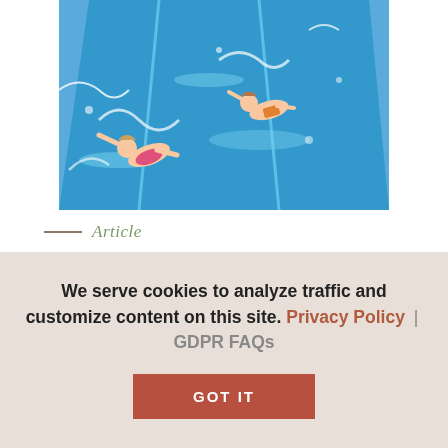[Figure (photo): Children sliding down a bright blue water slide at a water park, viewed from above. Water splashing, kids in swimwear enjoying a water ride.]
Article
Make a Splash at White Water in Branson
On a hot, Missouri summer afternoon, nothing beats cooling off
We serve cookies to analyze traffic and customize content on this site. Privacy Policy | GDPR FAQs
GOT IT